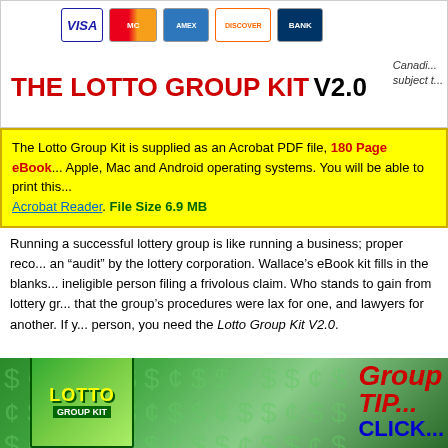[Figure (other): Payment method icons: VISA, MasterCard, American Express, Discover, BANK]
THE LOTTO GROUP KIT V2.0
Canadi... subject t...
The Lotto Group Kit is supplied as an Acrobat PDF file, 180 Page eBook ... Apple, Mac and Android operating systems. You will be able to print this ... Acrobat Reader. File Size 6.9 MB
Running a successful lottery group is like running a business; proper reco... an "audit" by the lottery corporation. Wallace's eBook kit fills in the blanks ... ineligible person filing a frivolous claim. Who stands to gain from lottery gr... that the group's procedures were lax for one, and lawyers for another. If y... person, you need the Lotto Group Kit V2.0.
[Figure (illustration): Promotional image showing Lotto Group Kit book cover with dollar sign background and text 'Group TIP CLICK' in red and blue]